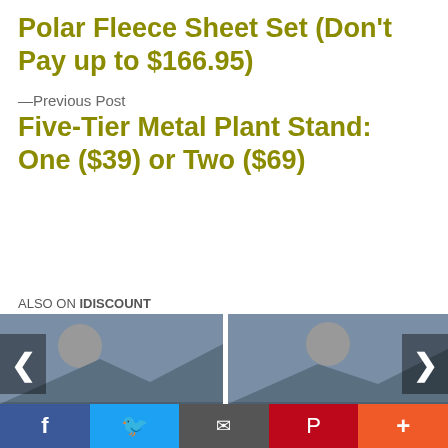Polar Fleece Sheet Set (Don't Pay up to $166.95)
—Previous Post
Five-Tier Metal Plant Stand: One ($39) or Two ($69)
ALSO ON IDISCOUNT
[Figure (photo): Placeholder image card 1 with text: [years] ago • 1 comment, BIGLIETTO]
[Figure (photo): Placeholder image card 2 with text: 5 years ago • 1 comment, Due biglietti]
[Figure (other): Share bar with Facebook, Twitter, Email, Pinterest, More buttons]